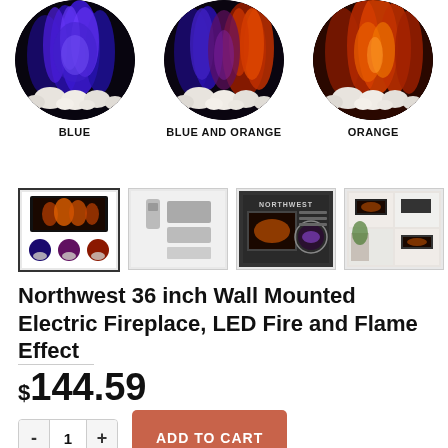[Figure (photo): Three circular images of electric fireplace flame effects: BLUE (blue flames with white stones), BLUE AND ORANGE (blue and orange flames with white stones), ORANGE (orange flames with white stones)]
BLUE
BLUE AND ORANGE
ORANGE
[Figure (photo): Four product thumbnail images showing the Northwest 36 inch Wall Mounted Electric Fireplace from different angles and packaging]
Northwest 36 inch Wall Mounted Electric Fireplace, LED Fire and Flame Effect
$144.59
- 1 + ADD TO CART